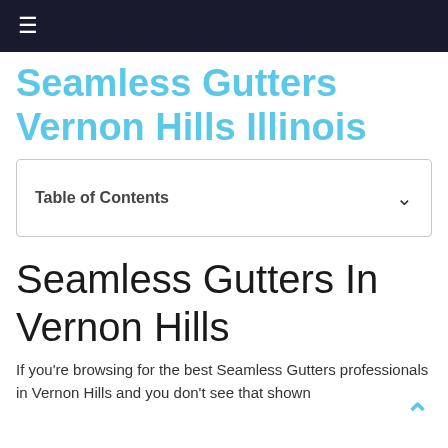≡
Seamless Gutters Vernon Hills Illinois
Table of Contents
Seamless Gutters In Vernon Hills
If you're browsing for the best Seamless Gutters professionals in Vernon Hills and you don't see that shown